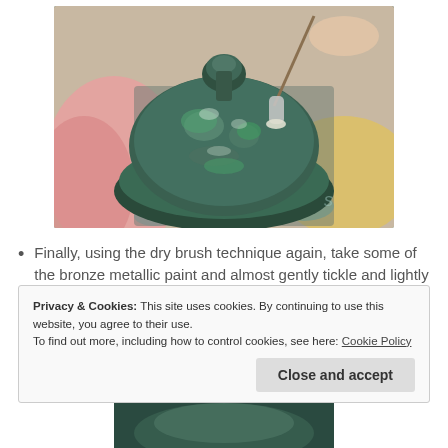[Figure (photo): A close-up photo of a verdigris/patinated bronze-colored decorative object (candlestick base) being painted with a dry brush technique. The object has a round, domed shape with textured green-teal metallic finish. A paintbrush is visible in the upper right. Background shows pink fabric and yellow/teal painted papers.]
Finally, using the dry brush technique again, take some of the bronze metallic paint and almost gently tickle and lightly run the brush over the raised areas of
Privacy & Cookies: This site uses cookies. By continuing to use this website, you agree to their use.
To find out more, including how to control cookies, see here: Cookie Policy
[Figure (photo): Bottom partial photo showing a dark green-teal decorative object, cropped at the bottom of the page.]